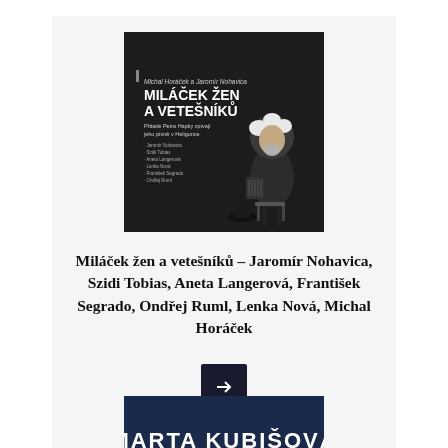[Figure (illustration): Book album cover for 'Miláček žen a vetešníků' — dark background with caricature of an elderly man with white hair sitting on a stool, title text in white, subtitle 'Přátelé Petra Hapky zpívají jeho písně v Heligonce', performer names listed below]
Miláček žen a vetešníků – Jaromír Nohavica, Szidi Tobias, Aneta Langerová, František Segrado, Ondřej Ruml, Lenka Nová, Michal Horáček
[Figure (illustration): Partial view of another album/book cover at the bottom — dark blue background with text 'MARTA KUBIŠOVÁ' in large white letters, partially cut off]